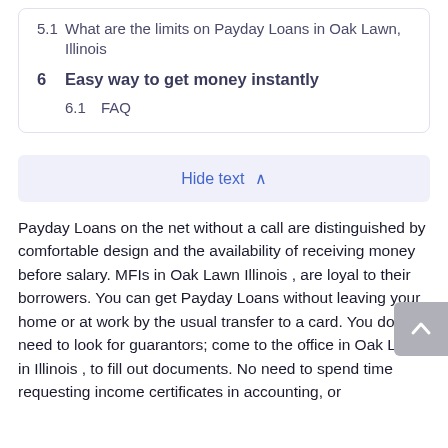5.1  What are the limits on Payday Loans in Oak Lawn, Illinois
6  Easy way to get money instantly
6.1  FAQ
Hide text ∧
Payday Loans on the net without a call are distinguished by comfortable design and the availability of receiving money before salary. MFIs in Oak Lawn Illinois , are loyal to their borrowers. You can get Payday Loans without leaving your home or at work by the usual transfer to a card. You do not need to look for guarantors; come to the office in Oak Lawn in Illinois , to fill out documents. No need to spend time requesting income certificates in accounting, or